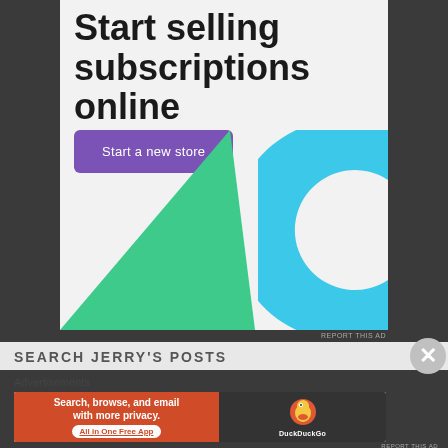[Figure (infographic): Advertisement card showing 'Start selling subscriptions online' headline with a purple 'Start a new store' button, a green triangle shape and a cyan arc/C-shape on a light gray background]
REPORT THIS AD
SEARCH JERRY'S POSTS
Advertisements
[Figure (infographic): DuckDuckGo advertisement banner: orange left side with 'Search, browse, and email with more privacy. All in One Free App' and dark right side with DuckDuckGo duck logo and brand name]